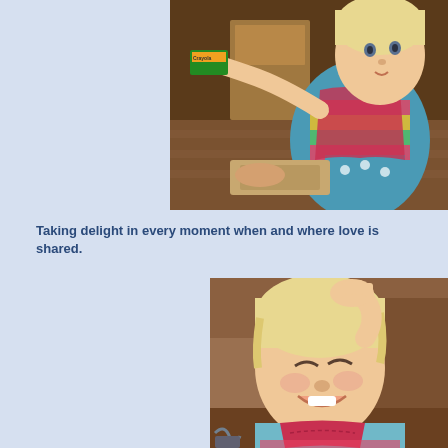[Figure (photo): A toddler girl with blonde hair wearing a colorful striped dress over a blue long-sleeve shirt, reaching out with one arm holding a green Crayola crayon box, with a wooden floor and furniture in the background.]
Taking delight in every moment when and where love is shared.
[Figure (photo): Close-up of the same toddler girl smiling and laughing, with her hand raised to her forehead, wearing a colorful striped outfit with a red bib, with a brown couch visible in the background.]